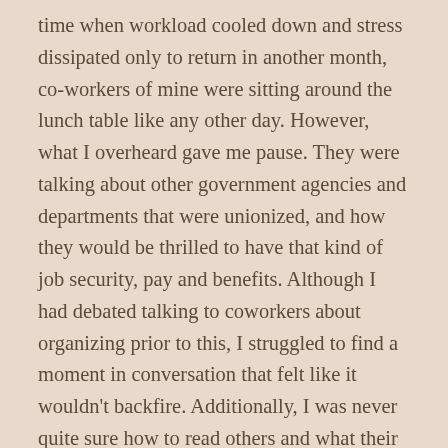time when workload cooled down and stress dissipated only to return in another month, co-workers of mine were sitting around the lunch table like any other day. However, what I overheard gave me pause. They were talking about other government agencies and departments that were unionized, and how they would be thrilled to have that kind of job security, pay and benefits. Although I had debated talking to coworkers about organizing prior to this, I struggled to find a moment in conversation that felt like it wouldn't backfire. Additionally, I was never quite sure how to read others and what their attitude about organizing would be. This was the first clear indication that I wasn't alone and that there was no longer an excuse to stay silent. I decided to join the conversation. The two co-workers in question worked at the agency for longer than I had, and had